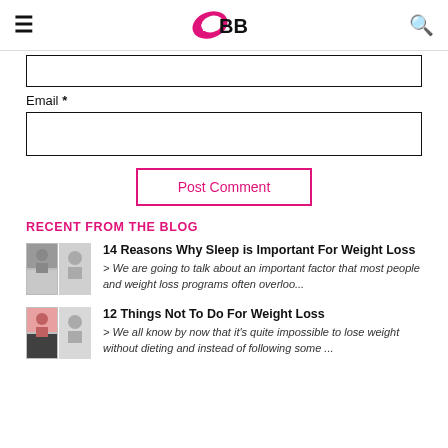IMBB (logo)
Email *
RECENT FROM THE BLOG
14 Reasons Why Sleep is Important For Weight Loss
> We are going to talk about an important factor that most people and weight loss programs often overloo...
12 Things Not To Do For Weight Loss
> We all know by now that it's quite impossible to lose weight without dieting and instead of following some ...